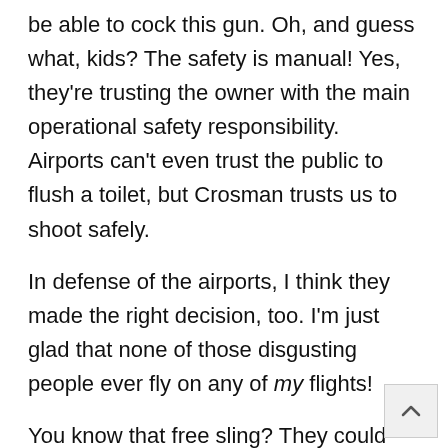be able to cock this gun. Oh, and guess what, kids? The safety is manual! Yes, they're trusting the owner with the main operational safety responsibility. Airports can't even trust the public to flush a toilet, but Crosman trusts us to shoot safely.
In defense of the airports, I think they made the right decision, too. I'm just glad that none of those disgusting people ever fly on any of my flights!
You know that free sling? They could have just thrown in a cheapie $6 Uncle Mikes web sling and called it a $20 value, but they didn't. They included a PADDED carry sling with the Benjamin name embroidered on the outside. When I see fine touches like that, I wonder how I can buy